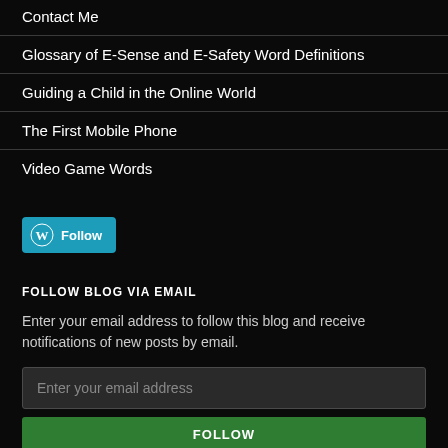Contact Me
Glossary of E-Sense and E-Safety Word Definitions
Guiding a Child in the Online World
The First Mobile Phone
Video Game Words
[Figure (other): WordPress Follow button in cyan/teal color]
FOLLOW BLOG VIA EMAIL
Enter your email address to follow this blog and receive notifications of new posts by email.
Enter your email address
FOLLOW